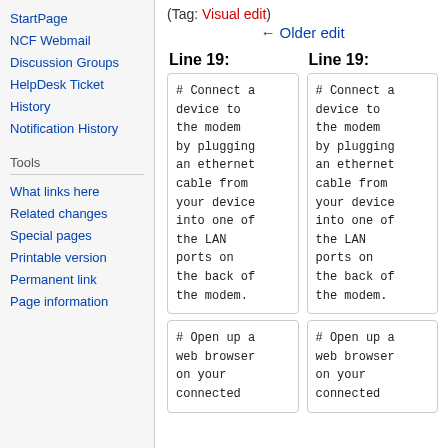StartPage
NCF Webmail
Discussion Groups
HelpDesk Ticket History
Notification History
Tools
What links here
Related changes
Special pages
Printable version
Permanent link
Page information
(Tag: Visual edit)
← Older edit
Line 19:
Line 19:
# Connect a device to the modem by plugging an ethernet cable from your device into one of the LAN ports on the back of the modem.
# Connect a device to the modem by plugging an ethernet cable from your device into one of the LAN ports on the back of the modem.
# Open up a web browser on your connected
# Open up a web browser on your connected